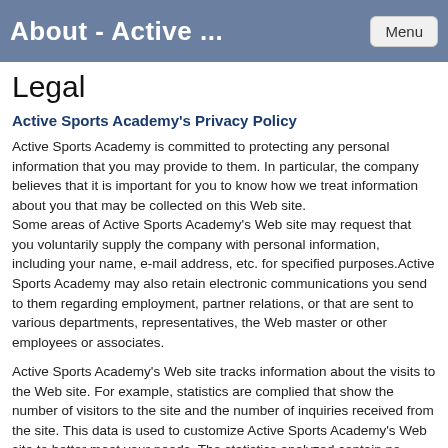About - Active ...
Legal
Active Sports Academy's Privacy Policy
Active Sports Academy is committed to protecting any personal information that you may provide to them. In particular, the company believes that it is important for you to know how we treat information about you that may be collected on this Web site.
Some areas of Active Sports Academy's Web site may request that you voluntarily supply the company with personal information, including your name, e-mail address, etc. for specified purposes.Active Sports Academy may also retain electronic communications you send to them regarding employment, partner relations, or that are sent to various departments, representatives, the Web master or other employees or associates.
Active Sports Academy's Web site tracks information about the visits to the Web site. For example, statistics are complied that show the number of visitors to the site and the number of inquiries received from the site. This data is used to customize Active Sports Academy's Web site to better meet your needs. The statistics analyzed contain no personal information and cannot be used to gather such information.
Active Sports Academy considers the personal information we receive through our Web site and other electronic communications to be confidential. Therefore, it is